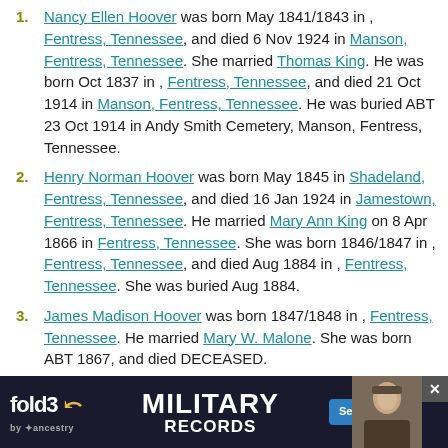Nancy Ellen Hoover was born May 1841/1843 in , Fentress, Tennessee, and died 6 Nov 1924 in Manson, Fentress, Tennessee. She married Thomas King. He was born Oct 1837 in , Fentress, Tennessee, and died 21 Oct 1914 in Manson, Fentress, Tennessee. He was buried ABT 23 Oct 1914 in Andy Smith Cemetery, Manson, Fentress, Tennessee.
Henry Norman Hoover was born May 1845 in Shadeland, Fentress, Tennessee, and died 16 Jan 1924 in Jamestown, Fentress, Tennessee. He married Mary Ann King on 8 Apr 1866 in Fentress, Tennessee. She was born 1846/1847 in , Fentress, Tennessee, and died Aug 1884 in , Fentress, Tennessee. She was buried Aug 1884.
James Madison Hoover was born 1847/1848 in , Fentress, Tennessee. He married Mary W. Malone. She was born ABT 1867, and died DECEASED.
William R. Hoover was born 1850/1851 in , Fentress, Tennessee, and died [obscured] Jul 1872. She [obscured] Tennessee.
[Figure (other): Fold3 by Ancestry advertisement banner for Military Records with Search Now button and soldier photo]